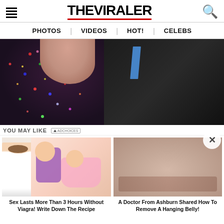THE VIRALER
PHOTOS | VIDEOS | HOT! | CELEBS
[Figure (photo): Close-up photo of a person's neckline/chest area wearing a black sequined/glitter jacket with deep neckline and another figure in dark suit with blue detail]
YOU MAY LIKE
[Figure (photo): Ad thumbnail showing a doctor and cartoon illustration of a couple]
Sex Lasts More Than 3 Hours Without Viagra! Write Down The Recipe
[Figure (photo): Ad thumbnail showing a close-up of someone's belly/midsection]
A Doctor From Ashburn Shared How To Remove A Hanging Belly!